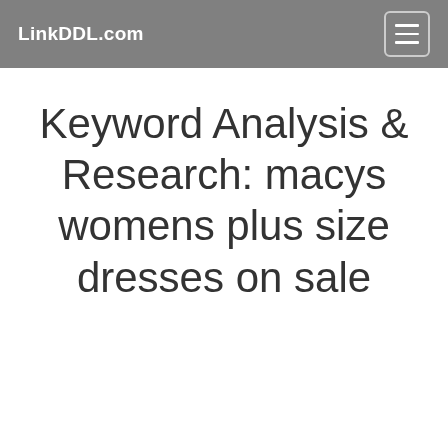LinkDDL.com
Keyword Analysis & Research: macys womens plus size dresses on sale